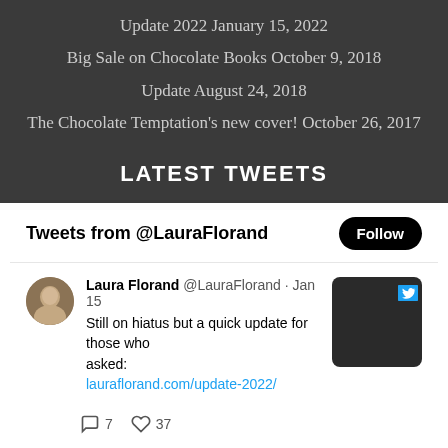Update 2022 January 15, 2022
Big Sale on Chocolate Books October 9, 2018
Update August 24, 2018
The Chocolate Temptation's new cover! October 26, 2017
LATEST TWEETS
Tweets from @LauraFlorand
Laura Florand @LauraFlorand · Jan 15
Still on hiatus but a quick update for those who asked:
lauraflorand.com/update-2022/
7 replies, 37 likes